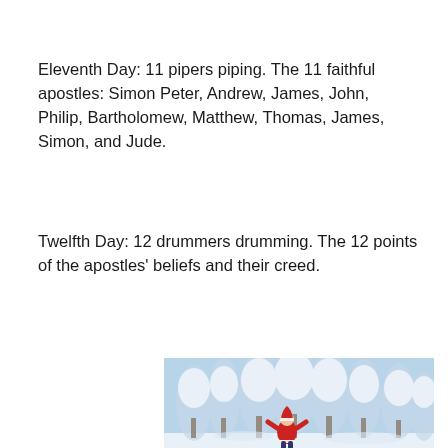Eleventh Day: 11 pipers piping. The 11 faithful apostles: Simon Peter, Andrew, James, John, Philip, Bartholomew, Matthew, Thomas, James, Simon, and Jude.
Twelfth Day: 12 drummers drumming. The 12 points of the apostles' beliefs and their creed.
[Figure (photo): A winter scene with snow-covered trees and a figure in a red costume (Santa Claus) in a snowy forest landscape]